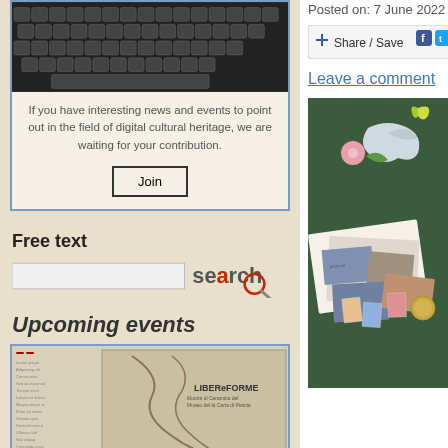[Figure (photo): Typewriter keys close-up photo at top of left sidebar]
If you have interesting news and events to point out in the field of digital cultural heritage, we are waiting for your contribution.
Join
Free text
[Figure (screenshot): Search input box with 'search' button logo]
Upcoming events
[Figure (photo): LIBEReFORME exhibition poster image]
Museo della Carta in Pescia (Italy), 25 June – 3 September
Posted on: 7 June 2022
[Figure (screenshot): Share / Save social media buttons bar with Facebook, Twitter and forward icons]
Leave a comment
[Figure (photo): Photo of postcards, paper cutouts of dove and flowers on dark green felt background]